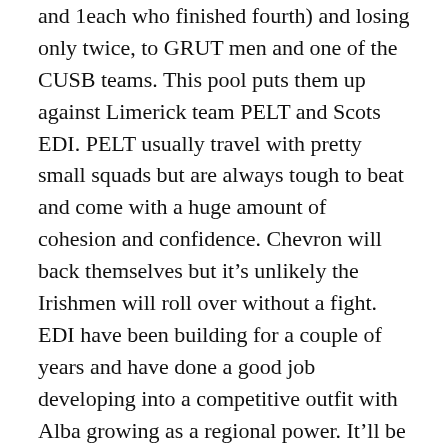and 1each who finished fourth) and losing only twice, to GRUT men and one of the CUSB teams. This pool puts them up against Limerick team PELT and Scots EDI. PELT usually travel with pretty small squads but are always tough to beat and come with a huge amount of cohesion and confidence. Chevron will back themselves but it's unlikely the Irishmen will roll over without a fight. EDI have been building for a couple of years and have done a good job developing into a competitive outfit with Alba growing as a regional power. It'll be a good test for them to play against two teams that have been to EUCF in the recent past.
Speaking of Alba, they are second seed and lead the next pool. They are the only team other